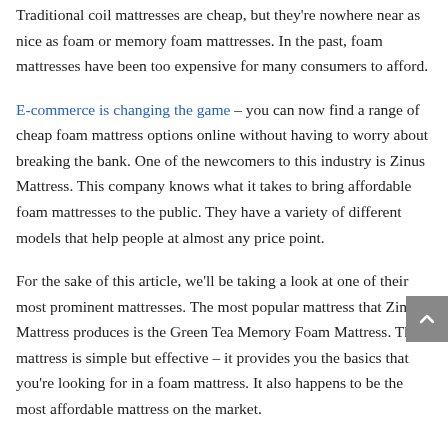Traditional coil mattresses are cheap, but they're nowhere near as nice as foam or memory foam mattresses. In the past, foam mattresses have been too expensive for many consumers to afford.
E-commerce is changing the game – you can now find a range of cheap foam mattress options online without having to worry about breaking the bank. One of the newcomers to this industry is Zinus Mattress. This company knows what it takes to bring affordable foam mattresses to the public. They have a variety of different models that help people at almost any price point.
For the sake of this article, we'll be taking a look at one of their most prominent mattresses. The most popular mattress that Zinus Mattress produces is the Green Tea Memory Foam Mattress. This mattress is simple but effective – it provides you the basics that you're looking for in a foam mattress. It also happens to be the most affordable mattress on the market.